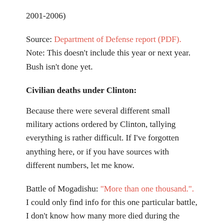2001-2006)
Source: Department of Defense report (PDF). Note: This doesn't include this year or next year. Bush isn't done yet.
Civilian deaths under Clinton:
Because there were several different small military actions ordered by Clinton, tallying everything is rather difficult. If I've forgotten anything here, or if you have sources with different numbers, let me know.
Battle of Mogadishu: "More than one thousand.". I could only find info for this one particular battle, I don't know how many more died during the Somalia missions.